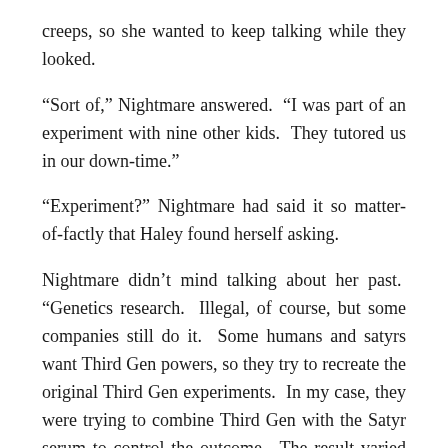creeps, so she wanted to keep talking while they looked.
“Sort of,” Nightmare answered. “I was part of an experiment with nine other kids. They tutored us in our down-time.”
“Experiment?” Nightmare had said it so matter-of-factly that Haley found herself asking.
Nightmare didn’t mind talking about her past. “Genetics research. Illegal, of course, but some companies still do it. Some humans and satyrs want Third Gen powers, so they try to recreate the original Third Gen experiments. In my case, they were trying to combine Third Gen with the Satyr serum to control the outcome. The result varied between the ten of us, but we